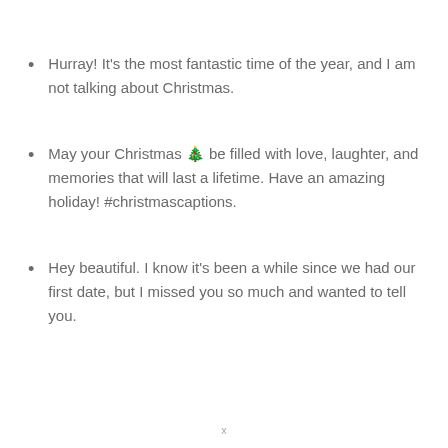Hurray! It's the most fantastic time of the year, and I am not talking about Christmas.
May your Christmas 🎄 be filled with love, laughter, and memories that will last a lifetime. Have an amazing holiday! #christmascaptions.
Hey beautiful. I know it's been a while since we had our first date, but I missed you so much and wanted to tell you.
x